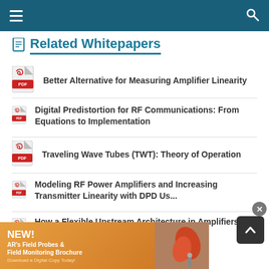Related Whitepapers
Related Whitepapers
Better Alternative for Measuring Amplifier Linearity
Digital Predistortion for RF Communications: From Equations to Implementation
Traveling Wave Tubes (TWT): Theory of Operation
Modeling RF Power Amplifiers and Increasing Transmitter Linearity with DPD Us...
How a Flexible Upstream Architecture in Amplifiers & Nodes Can Meet Higher Sp...
[Figure (infographic): Advertisement banner for AR's Field Probes & Field Monitoring Brochure with orange background and product image. Text: NEW! AR's Field Probes & Field Monitoring Brochure. Download a Digital Copy Today!]